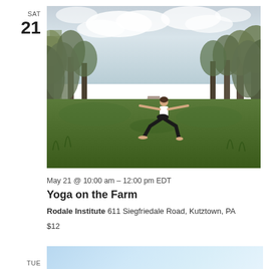SAT
21
[Figure (photo): Person doing a warrior yoga pose in the middle of an orchard path with trees on both sides and green grass, cloudy sky in background]
May 21 @ 10:00 am – 12:00 pm EDT
Yoga on the Farm
Rodale Institute 611 Siegfriedale Road, Kutztown, PA
$12
TUE